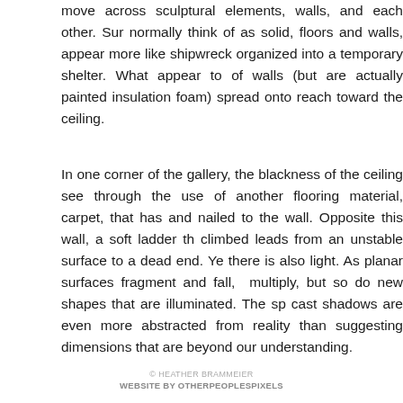move across sculptural elements, walls, and each other. Sur normally think of as solid, floors and walls, appear more like shipwreck organized into a temporary shelter. What appear to of walls (but are actually painted insulation foam) spread onto reach toward the ceiling.
In one corner of the gallery, the blackness of the ceiling see through the use of another flooring material, carpet, that has and nailed to the wall. Opposite this wall, a soft ladder th climbed leads from an unstable surface to a dead end. Ye there is also light. As planar surfaces fragment and fall, multiply, but so do new shapes that are illuminated. The sp cast shadows are even more abstracted from reality than suggesting dimensions that are beyond our understanding.
© HEATHER BRAMMEIER
WEBSITE BY OTHERPEOPLESPIXELS